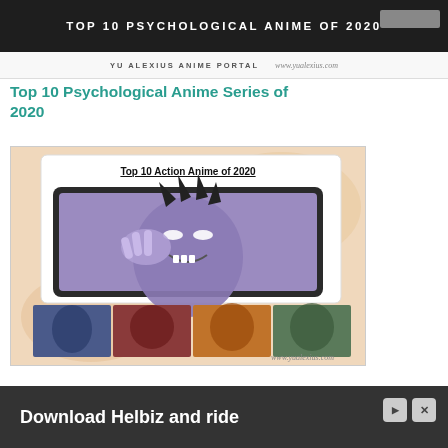TOP 10 PSYCHOLOGICAL ANIME OF 2020
YU ALEXIUS ANIME PORTAL  www.yualexius.com
Top 10 Psychological Anime Series of 2020
[Figure (illustration): Anime collage image showing 'Top 10 Action Anime of 2020' with a laptop mockup displaying an anime character (large purple villain figure with glowing white eyes) and four smaller anime scene thumbnails below on a peach/tan background.]
Download Helbiz and ride